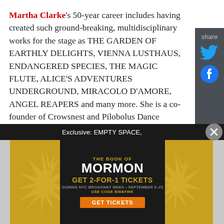Martha Clarke's 50-year career includes having created such ground-breaking, multidisciplinary works for the stage as THE GARDEN OF EARTHLY DELIGHTS, VIENNA LUSTHAUS, ENDANGERED SPECIES, THE MAGIC FLUTE, ALICE'S ADVENTURES UNDERGROUND, MIRACOLO D'AMORE, ANGEL REAPERS and many more. She is a co-founder of Crowsnest and Pilobolus Dance Theatre and throughout her career has staged works for Nederlands Dans Theater, American Ballet Theatre, and The Martha Graham Company.
Fanny Howe is an American poet, short story writer and novelist whose body of work began in the
[Figure (other): Social share sidebar with Twitter and Facebook icons on dark gray background]
Exclusive: EMPTY SPACE,
[Figure (other): Advertisement for The Book of Mormon musical: GET 2-FOR-1 TICKETS DURING NYC BROADWAY WEEK • SEPTEMBER 6-25 USE CODE BWAYWK GET TICKETS]